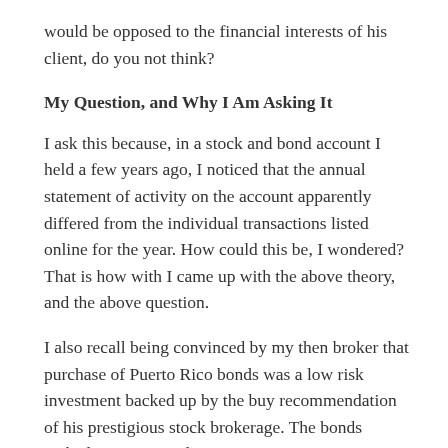would be opposed to the financial interests of his client, do you not think?
My Question, and Why I Am Asking It
I ask this because, in a stock and bond account I held a few years ago, I noticed that the annual statement of activity on the account apparently differed from the individual transactions listed online for the year. How could this be, I wondered? That is how with I came up with the above theory, and the above question.
I also recall being convinced by my then broker that purchase of Puerto Rico bonds was a low risk investment backed up by the buy recommendation of his prestigious stock brokerage. The bonds tanked in a spectacular manner.
What happened there, I wonder? Was it the broker who misrepresented the buy recommendation of the stock